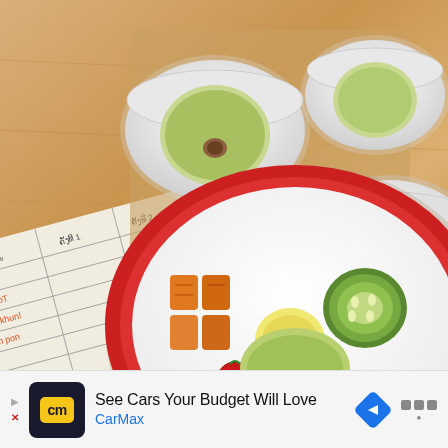[Figure (photo): Overhead photo on a wooden table showing white bowls and a plate with various fruits and vegetables: sliced green apple/cucumber in small bowls, chopped orange persimmon/pumpkin in another bowl, and a white plate with red rim containing carrot pieces, a banana slice, cherry tomatoes, cucumber slice, and other fruits. A paper tracking sheet is partially visible on the left side.]
See Cars Your Budget Will Love
CarMax